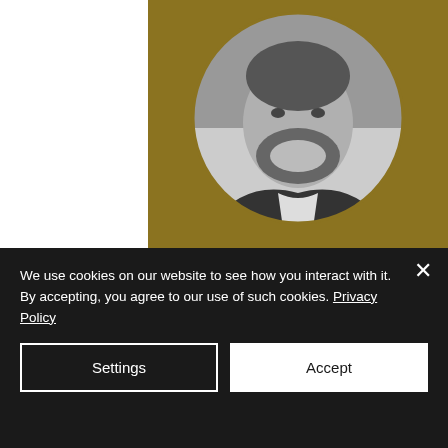[Figure (photo): Circular black and white portrait photo of a smiling man with a beard, wearing a suit, displayed on a gold/olive background panel]
Mitch, the lead Bitcoin expert and featured author at Bitcoin Magazine, is a former CPA
We use cookies on our website to see how you interact with it. By accepting, you agree to our use of such cookies. Privacy Policy